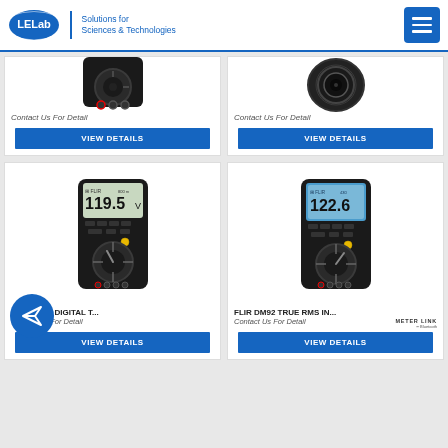LELab Solutions for Sciences & Technologies
[Figure (photo): Partial view of a digital multimeter (top card left), showing bottom portion of device]
Contact Us For Detail
VIEW DETAILS
[Figure (photo): Partial view of a thermal/optical camera device (top card right), showing bottom portion]
Contact Us For Detail
VIEW DETAILS
[Figure (photo): FLIR DM91 digital multimeter showing reading 119.5 V on display]
FLIR DM91 DIGITAL T...
Contact Us For Detail
VIEW DETAILS
[Figure (photo): FLIR DM92 True RMS multimeter showing reading 122.6 on blue-backlit display]
FLIR DM92 TRUE RMS IN...
Contact Us For Detail
VIEW DETAILS